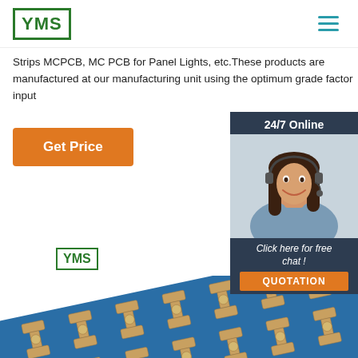[Figure (logo): YMS company logo - green bordered box with YMS text]
[Figure (illustration): Hamburger menu icon with three teal horizontal lines]
Strips MCPCB, MC PCB for Panel Lights, etc.These products are manufactured at our manufacturing unit using the optimum grade factor input
[Figure (illustration): 24/7 Online chat widget with customer service representative photo, 'Click here for free chat!' text and QUOTATION orange button]
[Figure (illustration): Get Price orange button]
[Figure (logo): YMS small logo repeated]
[Figure (photo): Blue PCB circuit board with multiple LED component pads arranged in rows, viewed at an angle]